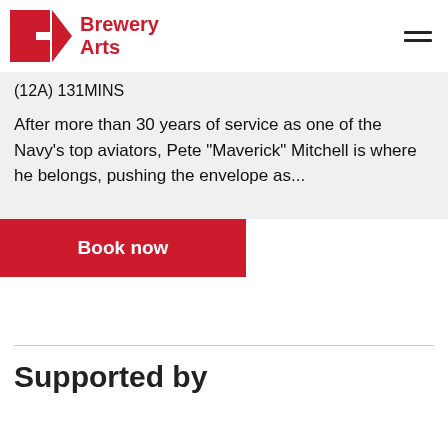Brewery Arts
(12A) 131MINS
After more than 30 years of service as one of the Navy's top aviators, Pete "Maverick" Mitchell is where he belongs, pushing the envelope as...
Book now
Supported by